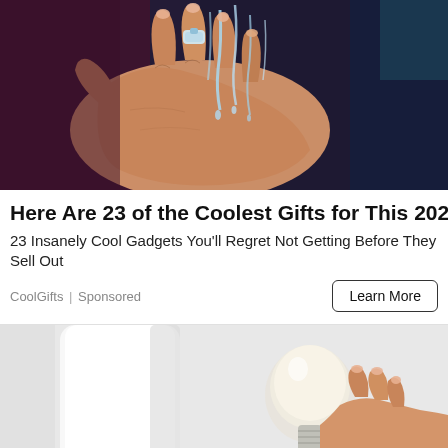[Figure (photo): Close-up photo of a hand under running water with what appears to be a ring or device on a finger, purple/dark background]
Here Are 23 of the Coolest Gifts for This 2022
23 Insanely Cool Gadgets You'll Regret Not Getting Before They Sell Out
CoolGifts | Sponsored
Learn More
[Figure (photo): Photo of a light bulb being held or examined, white/grey background, partial view]